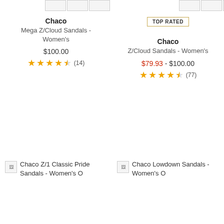[Figure (screenshot): Top thumbnail row with product images for two products]
TOP RATED
Chaco
Mega Z/Cloud Sandals - Women's
$100.00
★★★★☆ (14)
Chaco
Z/Cloud Sandals - Women's
$79.93 - $100.00
★★★★☆ (77)
Chaco Z/1 Classic Pride Sandals - Women's O
Chaco Lowdown Sandals - Women's O